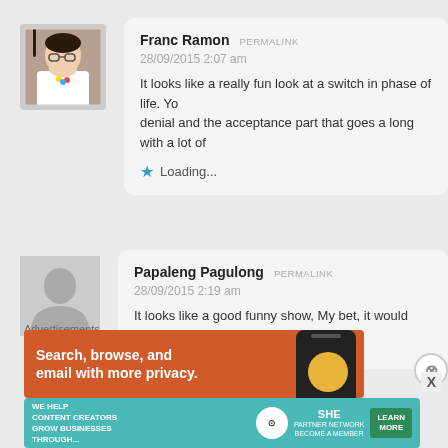[Figure (photo): Profile photo of Franc Ramon, a person wearing a white shirt with colorful accessories]
Franc Ramon PERMALINK
28/09/2015 2:07 am
It looks like a really fun look at a switch in phase of life. Yo... denial and the acceptance part that goes a long with a lot of...
★ Loading...
[Figure (photo): Default gray silhouette avatar for Papaleng Pagulong]
Papaleng Pagulong PERMALINK
28/09/2015 2:19 am
It looks like a good funny show, My bet, it would rate h...
Advertisements
[Figure (screenshot): DuckDuckGo advertisement: Search, browse, and email with more privacy. Shows a phone and duck logo on orange background.]
[Figure (screenshot): SHE Partner Network advertisement: We help content creators grow businesses through... LEARN MORE button on teal background.]